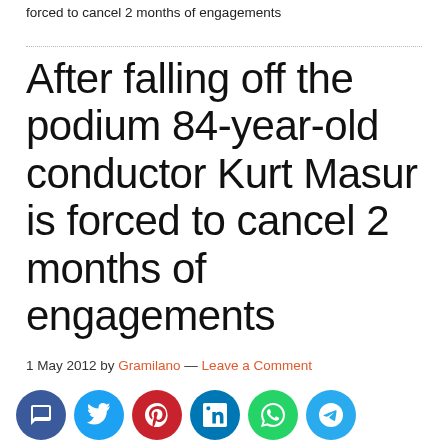forced to cancel 2 months of engagements
After falling off the podium 84-year-old conductor Kurt Masur is forced to cancel 2 months of engagements
1 May 2012 by Gramilano — Leave a Comment
[Figure (other): Social sharing buttons: comment, Twitter, Pinterest, LinkedIn, WhatsApp, Telegram]